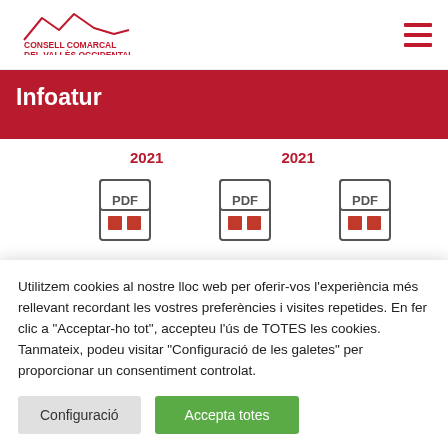CONSELL COMARCAL DEL VALLÈS OCCIDENTAL
Infoatur
2021   2021
[Figure (illustration): Three PDF document icons in a row]
Utilitzem cookies al nostre lloc web per oferir-vos l'experiència més rellevant recordant les vostres preferències i visites repetides. En fer clic a "Acceptar-ho tot", accepteu l'ús de TOTES les cookies. Tanmateix, podeu visitar "Configuració de les galetes" per proporcionar un consentiment controlat.
Configuració   Accepta totes